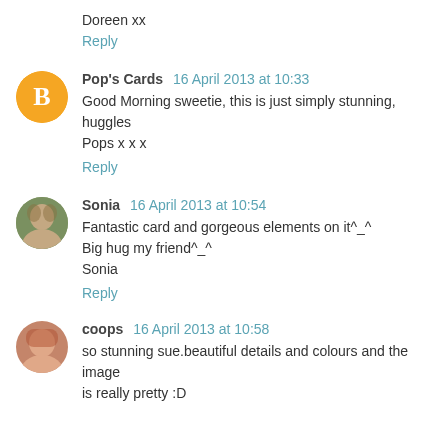Doreen xx
Reply
Pop's Cards 16 April 2013 at 10:33
Good Morning sweetie, this is just simply stunning, huggles Pops x x x
Reply
Sonia 16 April 2013 at 10:54
Fantastic card and gorgeous elements on it^_^
Big hug my friend^_^
Sonia
Reply
coops 16 April 2013 at 10:58
so stunning sue.beautiful details and colours and the image is really pretty :D